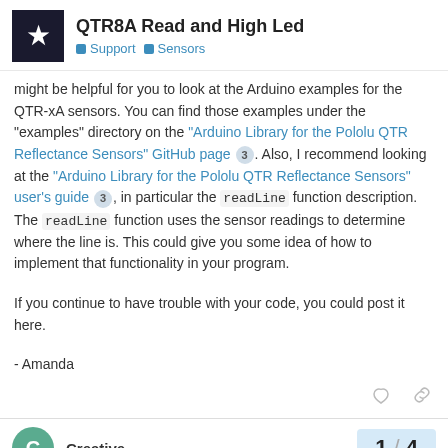QTR8A Read and High Led | Support | Sensors
might be helpful for you to look at the Arduino examples for the QTR-xA sensors. You can find those examples under the "examples" directory on the "Arduino Library for the Pololu QTR Reflectance Sensors" GitHub page 3 . Also, I recommend looking at the "Arduino Library for the Pololu QTR Reflectance Sensors" user's guide 3 , in particular the readLine function description. The readLine function uses the sensor readings to determine where the line is. This could give you some idea of how to implement that functionality in your program.
If you continue to have trouble with your code, you could post it here.
- Amanda
Creative  1 / 4